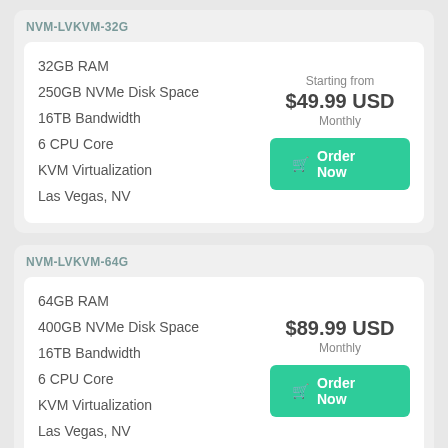NVM-LVKVM-32G
32GB RAM
250GB NVMe Disk Space
16TB Bandwidth
6 CPU Core
KVM Virtualization
Las Vegas, NV
Starting from
$49.99 USD
Monthly
Order Now
NVM-LVKVM-64G
64GB RAM
400GB NVMe Disk Space
16TB Bandwidth
6 CPU Core
KVM Virtualization
Las Vegas, NV
$89.99 USD
Monthly
Order Now